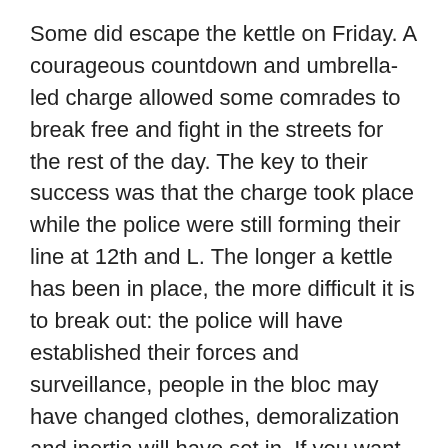Some did escape the kettle on Friday. A courageous countdown and umbrella-led charge allowed some comrades to break free and fight in the streets for the rest of the day. The key to their success was that the charge took place while the police were still forming their line at 12th and L. The longer a kettle has been in place, the more difficult it is to break out: the police will have established their forces and surveillance, people in the bloc may have changed clothes, demoralization and inertia will have set in. If you want to make a mad dash for freedom, your best chance is to take advantage of the chaos before a new order is imposed.
Clara:
Use the Middle of the Bloc to Get Clean